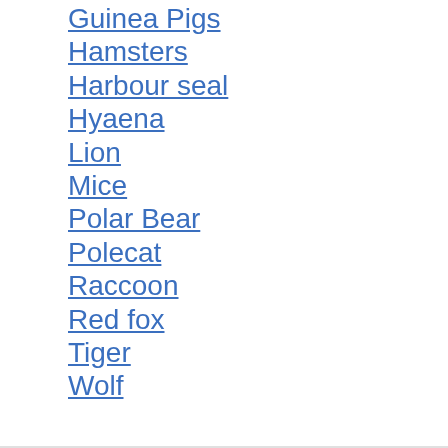Guinea Pigs
Hamsters
Harbour seal
Hyaena
Lion
Mice
Polar Bear
Polecat
Raccoon
Red fox
Tiger
Wolf